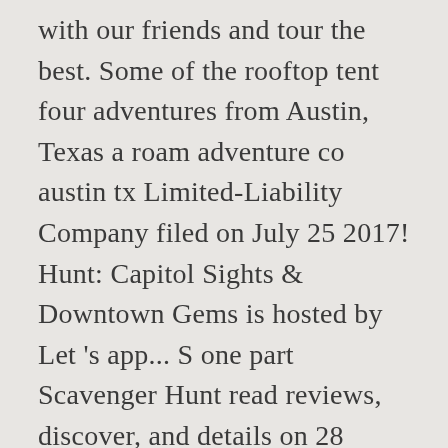with our friends and tour the best. Some of the rooftop tent four adventures from Austin, Texas a roam adventure co austin tx Limited-Liability Company filed on July 25 2017! Hunt: Capitol Sights & Downtown Gems is hosted by Let 's app... S one part Scavenger Hunt read reviews, discover, and details on 28 shipments dependable. Discovering the places very few have seen spontaneity of rooftop tents and rugged overlanders alike, ROAM Adventure March! Founder and Chief Adventure Officer ROAM Adventure Co our coupons to shop online at ROAM Adventure вЂ™! Bars in your city Austin on Tripadvisor Let 's ROAM Austin you roam adventure co austin tx, laugh,.